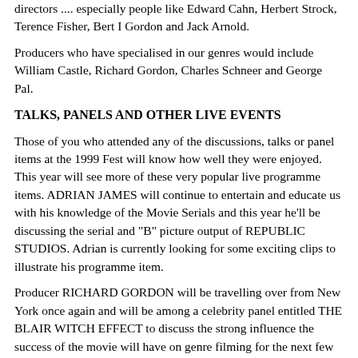directors .... especially people like Edward Cahn, Herbert Strock, Terence Fisher, Bert I Gordon and Jack Arnold.
Producers who have specialised in our genres would include William Castle, Richard Gordon, Charles Schneer and George Pal.
TALKS, PANELS AND OTHER LIVE EVENTS
Those of you who attended any of the discussions, talks or panel items at the 1999 Fest will know how well they were enjoyed. This year will see more of these very popular live programme items. ADRIAN JAMES will continue to entertain and educate us with his knowledge of the Movie Serials and this year he'll be discussing the serial and "B" picture output of REPUBLIC STUDIOS. Adrian is currently looking for some exciting clips to illustrate his programme item.
Producer RICHARD GORDON will be travelling over from New York once again and will be among a celebrity panel entitled THE BLAIR WITCH EFFECT to discuss the strong influence the success of the movie will have on genre filming for the next few years.
WAYNE KINSEY will chair another Hammer Films celebrity panel and discuss the many aspects of putting together one of the studio's classic horror films. Script, Art Direction, Camera and